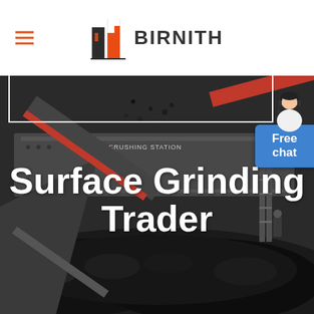BIRNITH
[Figure (photo): Industrial crushing station machinery with conveyor belts and large pile of crushed rock/coal material in the foreground, dark grayscale industrial scene]
Surface Grinding Trader
[Figure (illustration): Free chat button overlay (blue rounded rectangle) with customer service agent avatar above it]